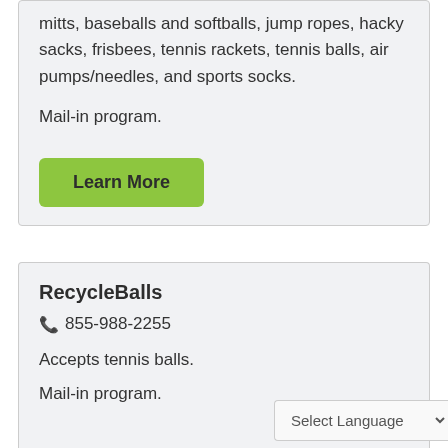mitts, baseballs and softballs, jump ropes, hacky sacks, frisbees, tennis rackets, tennis balls, air pumps/needles, and sports socks.
Mail-in program.
Learn More
RecycleBalls
☎ 855-988-2255
Accepts tennis balls.
Mail-in program.